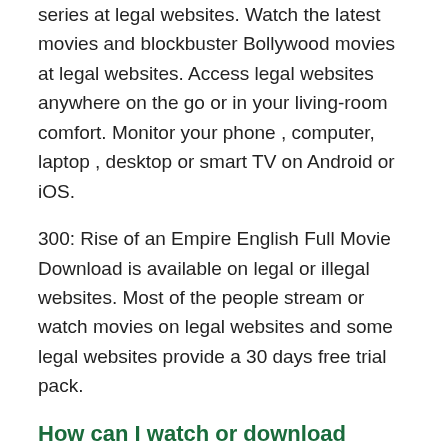series at legal websites. Watch the latest movies and blockbuster Bollywood movies at legal websites. Access legal websites anywhere on the go or in your living-room comfort. Monitor your phone , computer, laptop , desktop or smart TV on Android or iOS.
300: Rise of an Empire English Full Movie Download is available on legal or illegal websites. Most of the people stream or watch movies on legal websites and some legal websites provide a 30 days free trial pack.
How can I watch or download movies at Legal Websites?
Users can watch or download movies, even web series from the Legal Websites by downloading the app which is available on the Google Play...